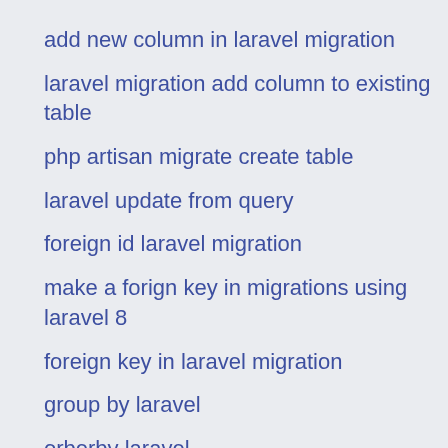add new column in laravel migration
laravel migration add column to existing table
php artisan migrate create table
laravel update from query
foreign id laravel migration
make a forign key in migrations using laravel 8
foreign key in laravel migration
group by laravel
orberby laravel
order By Asc in laravbel
get data in orderby in laravel
laravel db query
laravel query builder join
join 2 tables laravel